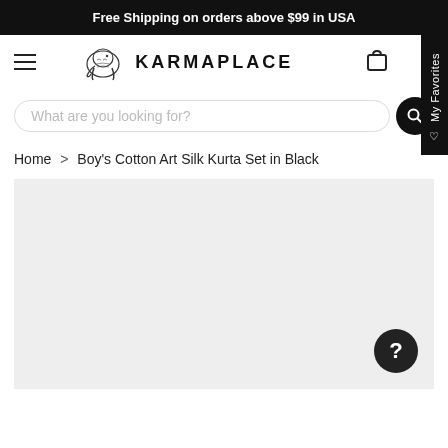Free Shipping on orders above $99 in USA
[Figure (logo): KarmaPlace logo with illustrated elephant and text KARMAPLACE]
What are you looking for?
Home > Boy's Cotton Art Silk Kurta Set in Black
[Figure (photo): Product image area — light grey placeholder for Boy's Cotton Art Silk Kurta Set in Black]